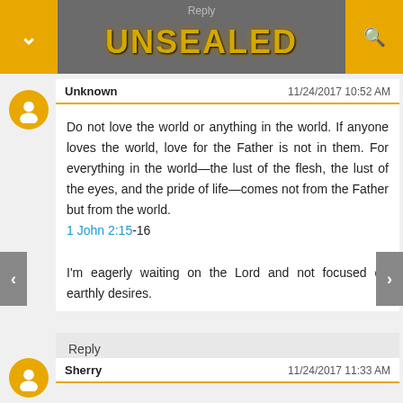UNSEALED
Unknown  11/24/2017 10:52 AM
Do not love the world or anything in the world. If anyone loves the world, love for the Father is not in them. For everything in the world—the lust of the flesh, the lust of the eyes, and the pride of life—comes not from the Father but from the world.
1 John 2:15-16

I'm eagerly waiting on the Lord and not focused on earthly desires.
Reply
Sherry  11/24/2017 11:33 AM